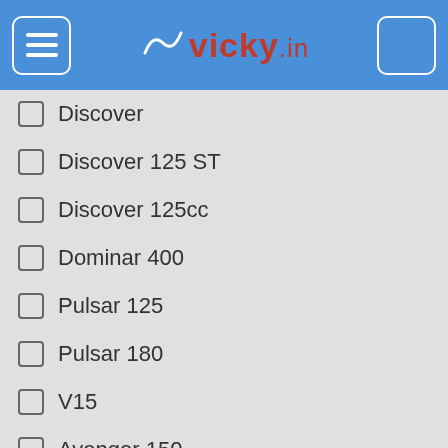vicky.in
Discover
Discover 125 ST
Discover 125cc
Dominar 400
Pulsar 125
Pulsar 180
V15
Avenger 150
Avenger 160
Discover 100T
Discover 150
Legend
Pulsar 160 NS